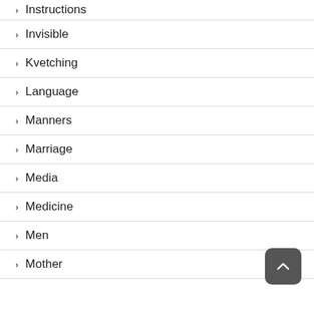Instructions
Invisible
Kvetching
Language
Manners
Marriage
Media
Medicine
Men
Mother